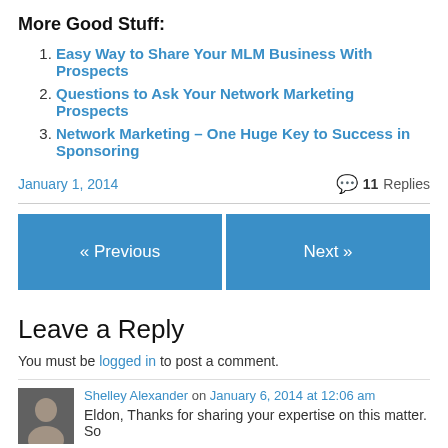More Good Stuff:
Easy Way to Share Your MLM Business With Prospects
Questions to Ask Your Network Marketing Prospects
Network Marketing – One Huge Key to Success in Sponsoring
January 1, 2014   11 Replies
« Previous
Next »
Leave a Reply
You must be logged in to post a comment.
Shelley Alexander on January 6, 2014 at 12:06 am
Eldon, Thanks for sharing your expertise on this matter. So